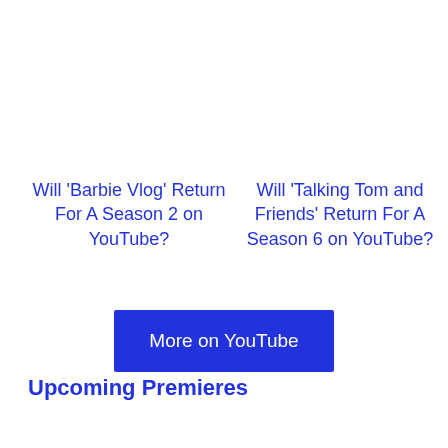Will 'Barbie Vlog' Return For A Season 2 on YouTube?
Will 'Talking Tom and Friends' Return For A Season 6 on YouTube?
More on YouTube
Upcoming Premieres